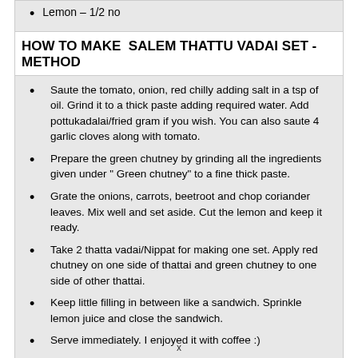Lemon – 1/2 no
HOW TO MAKE  SALEM THATTU VADAI SET - METHOD
Saute the tomato, onion, red chilly adding salt in a tsp of oil. Grind it to a thick paste adding required water. Add pottukadalai/fried gram if you wish. You can also saute 4 garlic cloves along with tomato.
Prepare the green chutney by grinding all the ingredients given under " Green chutney" to a fine thick paste.
Grate the onions, carrots, beetroot and chop coriander leaves. Mix well and set aside. Cut the lemon and keep it ready.
Take 2 thatta vadai/Nippat for making one set. Apply red chutney on one side of thattai and green chutney to one side of other thattai.
Keep little filling in between like a sandwich. Sprinkle lemon juice and close the sandwich.
Serve immediately. I enjoyed it with coffee :)
x